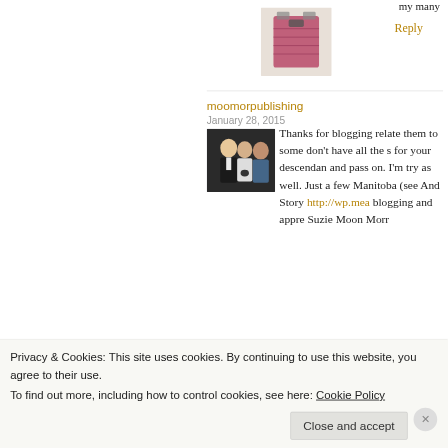my many
Reply
[Figure (photo): Avatar image of a pink/red patterned item, possibly a bag or textile]
moomorpublishing
January 28, 2015
[Figure (photo): Avatar photo showing two or three people at a formal event]
Thanks for blogging relate them to some don't have all the s for your descendan and pass on. I'm try as well. Just a few Manitoba (see And Story http://wp.mea blogging and appre Suzie Moon Morr
Privacy & Cookies: This site uses cookies. By continuing to use this website, you agree to their use.
To find out more, including how to control cookies, see here: Cookie Policy
Close and accept